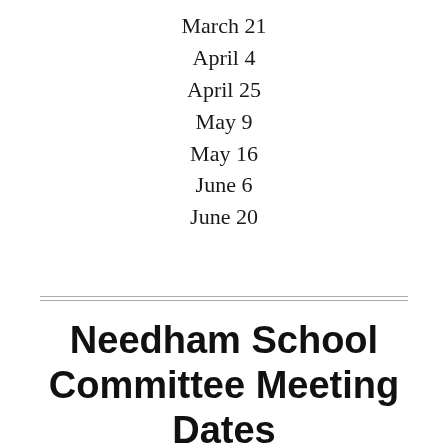March 21
April 4
April 25
May 9
May 16
June 6
June 20
Needham School Committee Meeting Dates